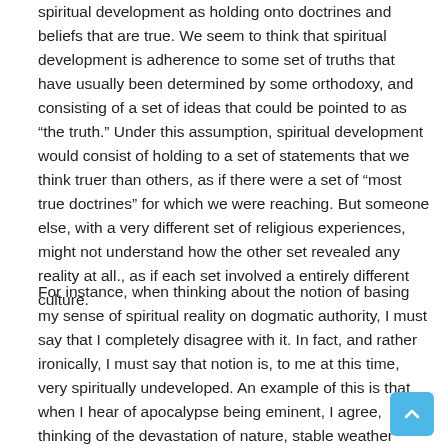spiritual development as holding onto doctrines and beliefs that are true. We seem to think that spiritual development is adherence to some set of truths that have usually been determined by some orthodoxy, and consisting of a set of ideas that could be pointed to as “the truth.” Under this assumption, spiritual development would consist of holding to a set of statements that we think truer than others, as if there were a set of “most true doctrines” for which we were reaching. But someone else, with a very different set of religious experiences, might not understand how the other set revealed any reality at all., as if each set involved a entirely different culture.
For instance, when thinking about the notion of basing my sense of spiritual reality on dogmatic authority, I must say that I completely disagree with it. In fact, and rather ironically, I must say that notion is, to me at this time, very spiritually undeveloped. An example of this is that when I hear of apocalypse being eminent, I agree, thinking of the devastation of nature, stable weather patterns, and specie diversification as being the means of the end of this time, the Sixth Extinction. When the other person starts to describe the apocalypse in images from Revelation and the literary tradition of Daniel, I get confused, seeing a good story or movie, but little that displays any